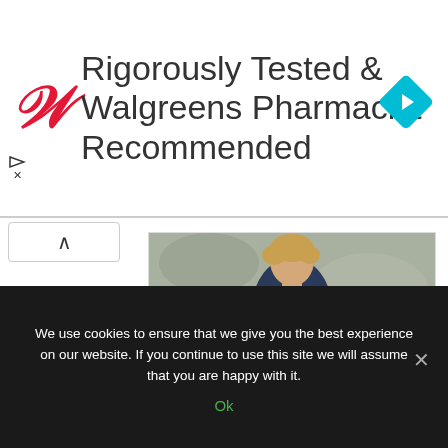[Figure (logo): Walgreens advertisement banner: red italic W logo, text 'Rigorously Tested & Walgreens Pharmacist Recommended', blue diamond navigation icon top right, small play/close icons bottom left]
[Figure (photo): Organic Basics advertisement card showing a young man in navy t-shirt sitting on a couch against a concrete wall, with text 'Doing good has never felt better. Sustainable basics in organic cotton.' and 'organicbasics.' logo with 'Shop now' button]
We use cookies to ensure that we give you the best experience on our website. If you continue to use this site we will assume that you are happy with it.
Ok